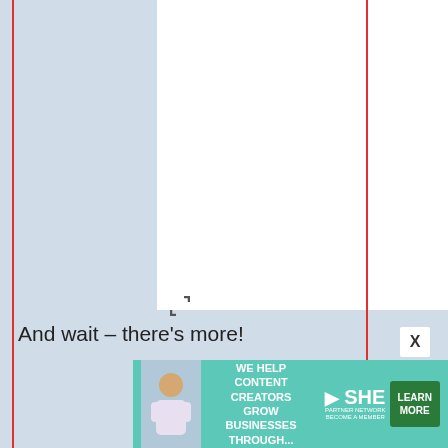[Figure (other): Large white image placeholder area with a small resize/fullscreen icon in the bottom-left corner]
And wait – there’s more!
[Figure (photo): Photo of a magazine or book opened to a page titled 'Scrap Happy' with QM branding, against a pink tiled background. A yellow sticky note or paper is visible at the right edge.]
[Figure (infographic): Advertisement banner: 'WE HELP CONTENT CREATORS GROW BUSINESSES THROUGH...' with SHE Media Partner Network logo and 'LEARN MORE' green button]